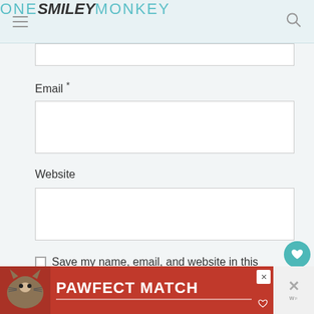ONE SMILEY MONKEY
Email *
Website
Save my name, email, and website in this browser for the next time I comment.
[Figure (screenshot): PAWFECT MATCH advertisement banner with cat image on orange-red background]
1